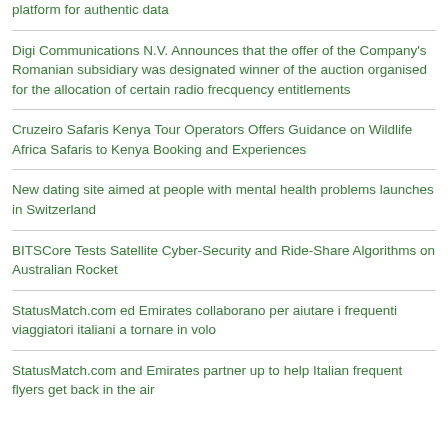platform for authentic data
Digi Communications N.V. Announces that the offer of the Company's Romanian subsidiary was designated winner of the auction organised for the allocation of certain radio frecquency entitlements
Cruzeiro Safaris Kenya Tour Operators Offers Guidance on Wildlife Africa Safaris to Kenya Booking and Experiences
New dating site aimed at people with mental health problems launches in Switzerland
BITSCore Tests Satellite Cyber-Security and Ride-Share Algorithms on Australian Rocket
StatusMatch.com ed Emirates collaborano per aiutare i frequenti viaggiatori italiani a tornare in volo
StatusMatch.com and Emirates partner up to help Italian frequent flyers get back in the air